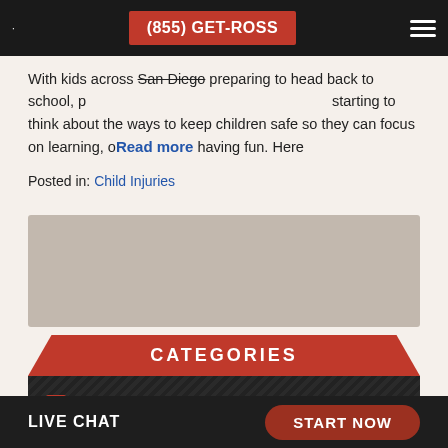With kids across San Diego preparing to head back to school, parents are starting to think about the ways to keep children safe so they can focus on learning, on growing, and on having fun. Here
Read more
Posted in: Child Injuries
[Figure (photo): Gray placeholder image area]
Categories
Airplane Accidents
ATV Accident
LIVE CHAT  START NOW